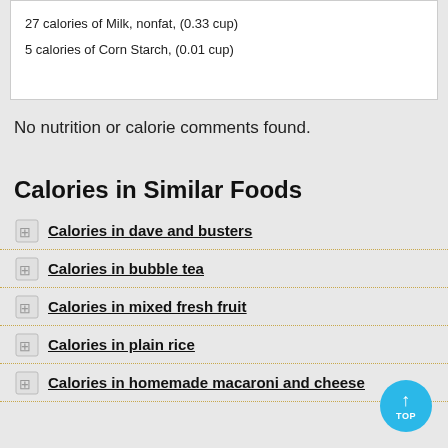27 calories of Milk, nonfat, (0.33 cup)
5 calories of Corn Starch, (0.01 cup)
No nutrition or calorie comments found.
Calories in Similar Foods
Calories in dave and busters
Calories in bubble tea
Calories in mixed fresh fruit
Calories in plain rice
Calories in homemade macaroni and cheese